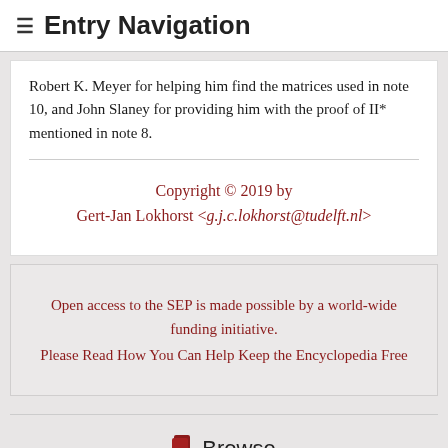≡ Entry Navigation
Robert K. Meyer for helping him find the matrices used in note 10, and John Slaney for providing him with the proof of II* mentioned in note 8.
Copyright © 2019 by Gert-Jan Lokhorst <g.j.c.lokhorst@tudelft.nl>
Open access to the SEP is made possible by a world-wide funding initiative.
Please Read How You Can Help Keep the Encyclopedia Free
Browse